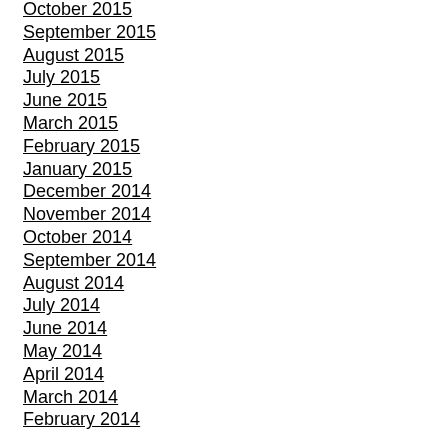October 2015
September 2015
August 2015
July 2015
June 2015
March 2015
February 2015
January 2015
December 2014
November 2014
October 2014
September 2014
August 2014
July 2014
June 2014
May 2014
April 2014
March 2014
February 2014